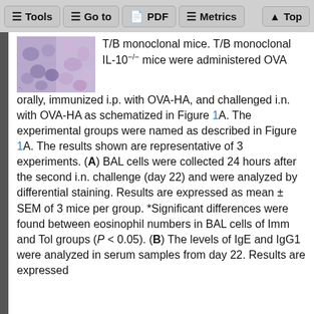Tools | Go to | PDF | Metrics | Top
[Figure (photo): Microscopy image showing tissue section stained in purple/violet (hematoxylin and eosin or similar stain), showing cellular structures.]
T/B monoclonal mice. T/B monoclonal IL-10−/− mice were administered OVA orally, immunized i.p. with OVA-HA, and challenged i.n. with OVA-HA as schematized in Figure 1A. The experimental groups were named as described in Figure 1A. The results shown are representative of 3 experiments. (A) BAL cells were collected 24 hours after the second i.n. challenge (day 22) and were analyzed by differential staining. Results are expressed as mean ± SEM of 3 mice per group. *Significant differences were found between eosinophil numbers in BAL cells of Imm and Tol groups (P < 0.05). (B) The levels of IgE and IgG1 were analyzed in serum samples from day 22. Results are expressed